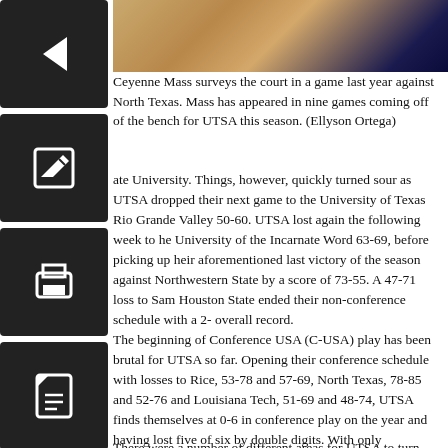[Figure (photo): Basketball court photo strip at the top right of the page]
Ceyenne Mass surveys the court in a game last year against North Texas. Mass has appeared in nine games coming off of the bench for UTSA this season. (Ellyson Ortega)
ate University. Things, however, quickly turned sour as UTSA dropped their next game to the University of Texas Rio Grande Valley 50-60. UTSA lost again the following week to he University of the Incarnate Word 63-69, before picking up heir aforementioned last victory of the season against Northwestern State by a score of 73-55. A 47-71 loss to Sam Houston State ended their non-conference schedule with a 2- overall record.
The beginning of Conference USA (C-USA) play has been brutal for UTSA so far. Opening their conference schedule with losses to Rice, 53-78 and 57-69, North Texas, 78-85 and 52-76 and Louisiana Tech, 51-69 and 48-74, UTSA finds themselves at 0-6 in conference play on the year and having lost five of six by double digits. With only conference games remaining on the schedule there will be no respite against weaker, lower division competition to get things right, so UTSA will have to fix their issues against the rest of C-USA on the fly.
There were a number of different areas for UTSA to turn and...